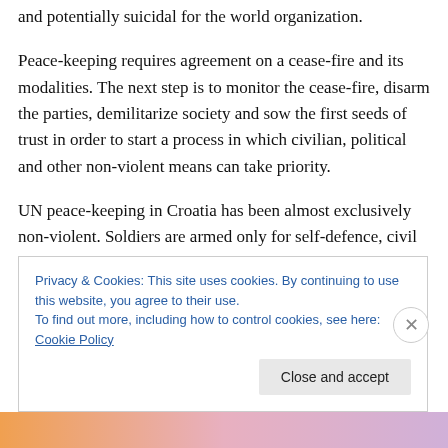and potentially suicidal for the world organization.
Peace-keeping requires agreement on a cease-fire and its modalities. The next step is to monitor the cease-fire, disarm the parties, demilitarize society and sow the first seeds of trust in order to start a process in which civilian, political and other non-violent means can take priority.
UN peace-keeping in Croatia has been almost exclusively non-violent. Soldiers are armed only for self-defence, civil police and civil staff are unarmed. At their disposal is armoured personnel carriers (APCs) and helicopters.
Privacy & Cookies: This site uses cookies. By continuing to use this website, you agree to their use.
To find out more, including how to control cookies, see here: Cookie Policy
Close and accept